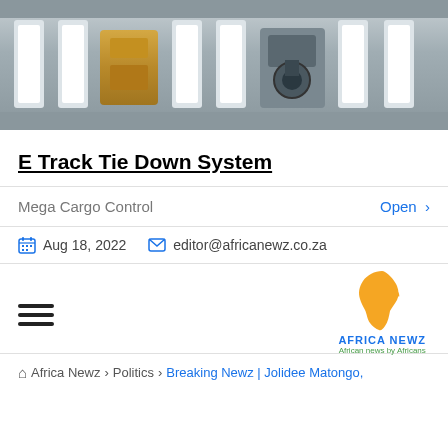[Figure (photo): Hero image showing E Track Tie Down System components including metal rail tracks and hardware in silver and gold tones on a gray metallic background]
E Track Tie Down System
Mega Cargo Control   Open >
Aug 18, 2022   editor@africanewz.co.za
[Figure (logo): Africa Newz logo with orange Africa continent silhouette, text AFRICA NEWZ in blue, tagline African news by Africans in green]
Africa Newz > Politics > Breaking Newz | Jolidee Matongo,